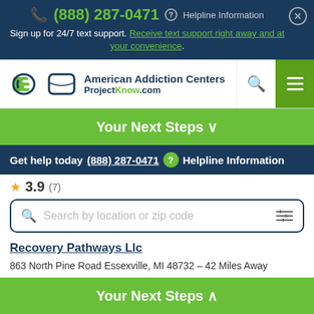(888) 287-0471  Helpline Information
Sign up for 24/7 text support. Receive text support right away and at your convenience.
[Figure (screenshot): American Addiction Centers / ProjectKnow.com logo with navigation bar]
Your Next Steps ∨
Get help today (888) 287-0471  Helpline Information
★ 3.9 (7)
Search by location or zip code
Recovery Pathways Llc
863 North Pine Road Essexville, MI 48732 – 42 Miles Away
★ 3.8 (2)
Your Next Steps ∧